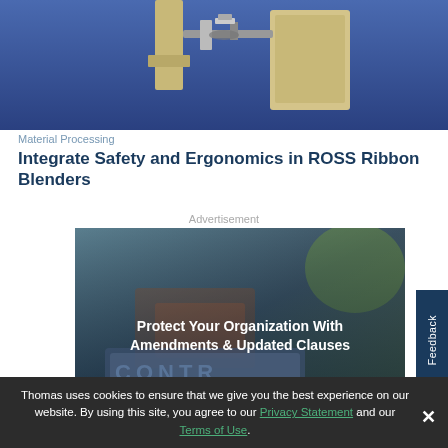[Figure (photo): Top portion of a ROSS Ribbon Blender industrial machine shown against a blue background, with metallic components visible]
Material Processing
Integrate Safety and Ergonomics in ROSS Ribbon Blenders
Advertisement
[Figure (photo): Advertisement image showing a blurred contract document on a table with text overlay: 'Protect Your Organization With Amendments & Updated Clauses']
Thomas uses cookies to ensure that we give you the best experience on our website. By using this site, you agree to our Privacy Statement and our Terms of Use.